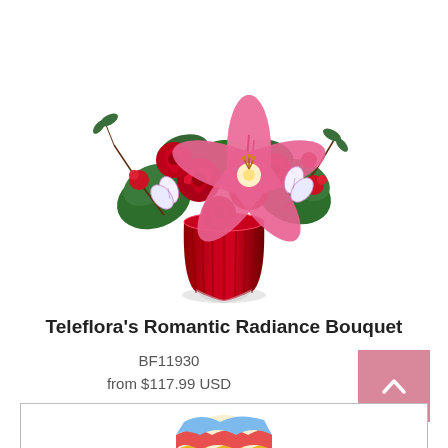[Figure (photo): Teleflora's Romantic Radiance Bouquet: red roses, pink stargazer lily, white alstroemeria, green foliage in a ribbed dark red/crimson vase]
Teleflora's Romantic Radiance Bouquet
BF11930
from $117.99 USD
[Figure (screenshot): Pink scroll-to-top button with white upward chevron arrow]
Order Now
[Figure (photo): Partial view of a colorful balloon or second product at the bottom of the page]